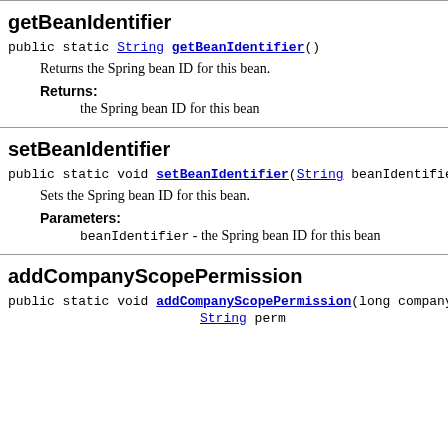getBeanIdentifier
public static String getBeanIdentifier()
Returns the Spring bean ID for this bean.
Returns:
the Spring bean ID for this bean
setBeanIdentifier
public static void setBeanIdentifier(String beanIdentifier
Sets the Spring bean ID for this bean.
Parameters:
beanIdentifier - the Spring bean ID for this bean
addCompanyScopePermission
public static void addCompanyScopePermission(long company, String per